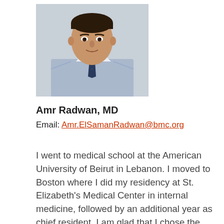[Figure (photo): Headshot photo of Amr Radwan, MD — a man in a light blue dress shirt and dark tie, neutral background]
Amr Radwan, MD
Email: Amr.ElSamanRadwan@bmc.org
I went to medical school at the American University of Beirut in Lebanon. I moved to Boston where I did my residency at St. Elizabeth's Medical Center in internal medicine, followed by an additional year as chief resident. I am glad that I chose the BU/BMC geriatric oncology fellowship program as it has been a gratifying experience thus far. I have completed my first year in